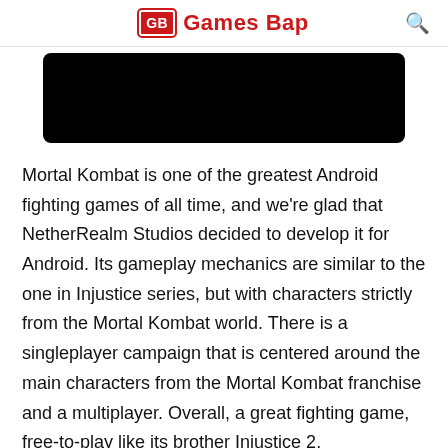GB Games Bap
[Figure (photo): Black rectangular image, likely a screenshot or video thumbnail from Mortal Kombat game]
Mortal Kombat is one of the greatest Android fighting games of all time, and we're glad that NetherRealm Studios decided to develop it for Android. Its gameplay mechanics are similar to the one in Injustice series, but with characters strictly from the Mortal Kombat world. There is a singleplayer campaign that is centered around the main characters from the Mortal Kombat franchise and a multiplayer. Overall, a great fighting game, free-to-play like its brother Injustice 2.